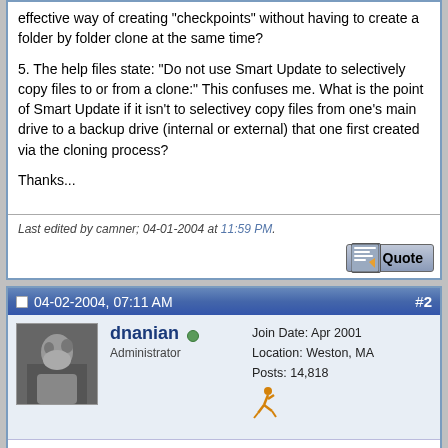effective way of creating "checkpoints" without having to create a folder by folder clone at the same time?

5. The help files state: "Do not use Smart Update to selectively copy files to or from a clone:" This confuses me. What is the point of Smart Update if it isn't to selectivey copy files from one's main drive to a backup drive (internal or external) that one first created via the cloning process?

Thanks...
Last edited by camner; 04-01-2004 at 11:59 PM.
04-02-2004, 07:11 AM
#2
[Figure (photo): Avatar photo of user dnanian - grayscale photo of a person]
dnanian
Administrator
Join Date: Apr 2001
Location: Weston, MA
Posts: 14,818
Thanks for the post, camner. I'll do my best to answer each question in turn.
Quote:
Originally Posted by camner
1. The help talks about using SD to create "checkpoints". Do I presume correctly that the way to do this is to get SD to create a complete image of